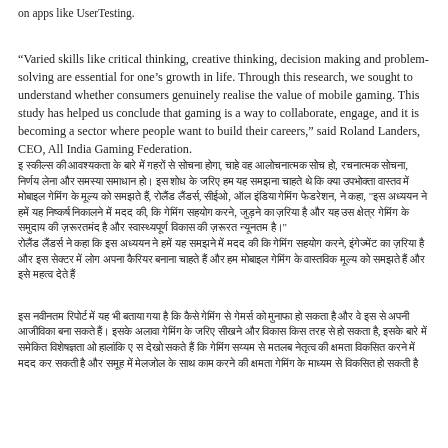on apps like UserTesting.
“Varied skills like critical thinking, creative thinking, decision making and problem-solving are essential for one’s growth in life. Through this research, we sought to understand whether consumers genuinely realise the value of mobile gaming. This study has helped us conclude that gaming is a way to collaborate, engage, and it is becoming a sector where people want to build their careers,” said Roland Landers, CEO, All India Gaming Federation.
[Hindi text block 1 - multiple lines in Devanagari script]
[Hindi text block 2 - multiple lines in Devanagari script]